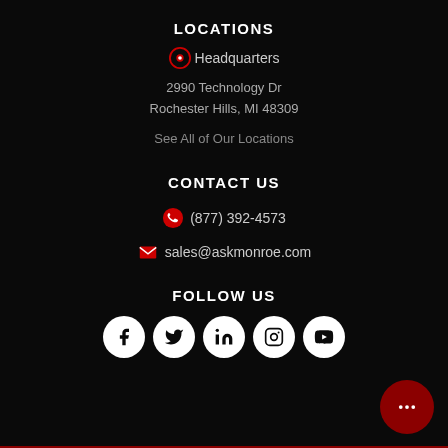LOCATIONS
Headquarters
2990 Technology Dr
Rochester Hills, MI 48309
See All of Our Locations
CONTACT US
(877) 392-4573
sales@askmonroe.com
FOLLOW US
[Figure (infographic): Row of 5 social media icons (Facebook, Twitter, LinkedIn, Instagram, YouTube) as white circles on black background]